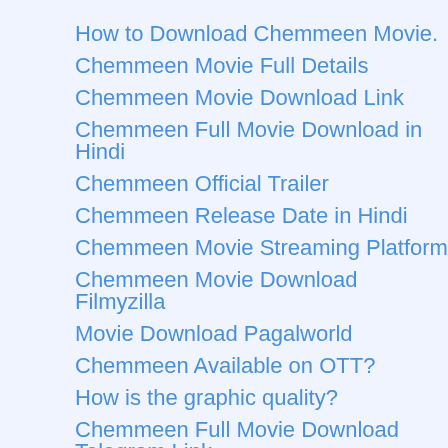How to Download Chemmeen Movie.
Chemmeen Movie Full Details
Chemmeen Movie Download Link
Chemmeen Full Movie Download in Hindi
Chemmeen Official Trailer
Chemmeen Release Date in Hindi
Chemmeen Movie Streaming Platform
Chemmeen Movie Download Filmyzilla
Movie Download Pagalworld
Chemmeen Available on OTT?
How is the graphic quality?
Chemmeen Full Movie Download Telegram Link
In which Language is the Chemmeen Movie available?